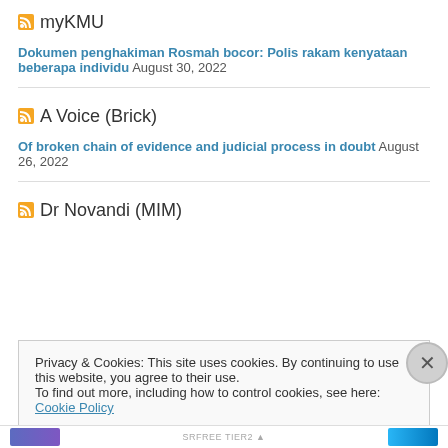myKMU
Dokumen penghakiman Rosmah bocor: Polis rakam kenyataan beberapa individu August 30, 2022
A Voice (Brick)
Of broken chain of evidence and judicial process in doubt August 26, 2022
Dr Novandi (MIM)
Privacy & Cookies: This site uses cookies. By continuing to use this website, you agree to their use.
To find out more, including how to control cookies, see here: Cookie Policy
Close and accept